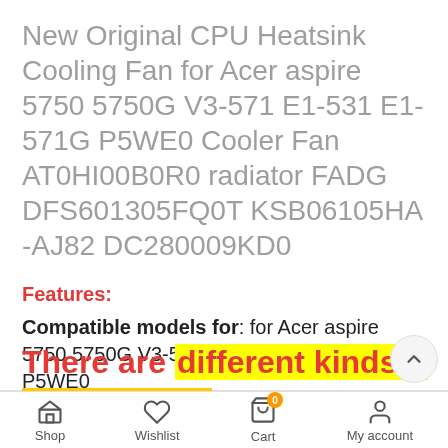New Original CPU Heatsink Cooling Fan for Acer aspire 5750 5750G V3-571 E1-531 E1-571G P5WE0 Cooler Fan AT0HI00B0R0 radiator FADG DFS601305FQ0T KSB06105HA -AJ82 DC280009KD0
Features:
Compatible models for: for Acer aspire 5750 5750G V3-571 E1-531 E1-571G P5WE0
Power connector: 3 Wires
There are different kinds o
Shop   Wishlist   Cart   My account